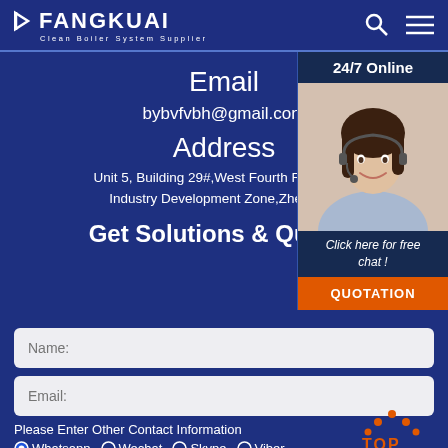FANGKUAI — Clean Boiler System Supplier
Email
bybvfvbh@gmail.com
Address
Unit 5, Building 29#,West Fourth Ring,National Industry Development Zone,Zhengzhou
Get Solutions & Quotation
[Figure (photo): Customer service representative wearing headset, smiling. Widget shows 24/7 Online, Click here for free chat!, and QUOTATION button.]
Name:
Email:
Please Enter Other Contact Information
Whatsapp
Wechat
Skype
Viber